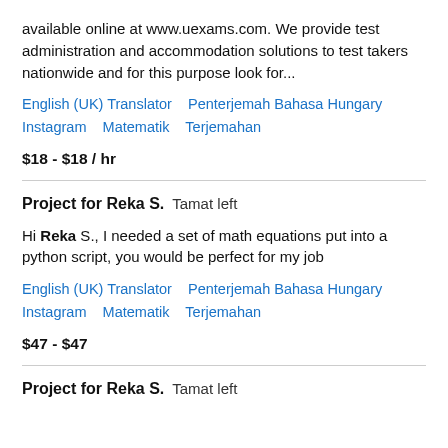available online at www.uexams.com. We provide test administration and accommodation solutions to test takers nationwide and for this purpose look for...
English (UK) Translator   Penterjemah Bahasa Hungary   Instagram   Matematik   Terjemahan
$18 - $18 / hr
Project for Reka S.   Tamat left
Hi Reka S., I needed a set of math equations put into a python script, you would be perfect for my job
English (UK) Translator   Penterjemah Bahasa Hungary   Instagram   Matematik   Terjemahan
$47 - $47
Project for Reka S.   Tamat left